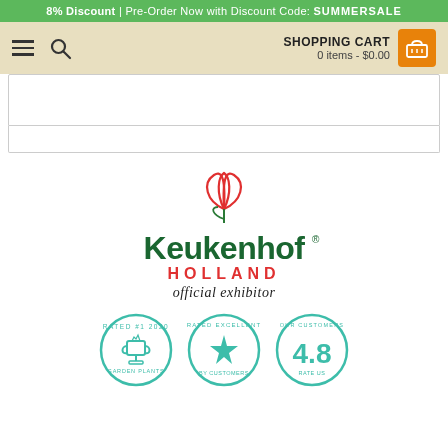8% Discount | Pre-Order Now with Discount Code: SUMMERSALE
[Figure (screenshot): Navigation bar with hamburger menu, search icon, and shopping cart showing 0 items - $0.00]
[Figure (screenshot): Search/filter input area placeholder boxes]
[Figure (logo): Keukenhof Holland official exhibitor logo with tulip icon]
[Figure (infographic): Three circular badges: Rated #1 2020 with trophy, Rated Excellent with star, Our Customers 4.8 rating badge]